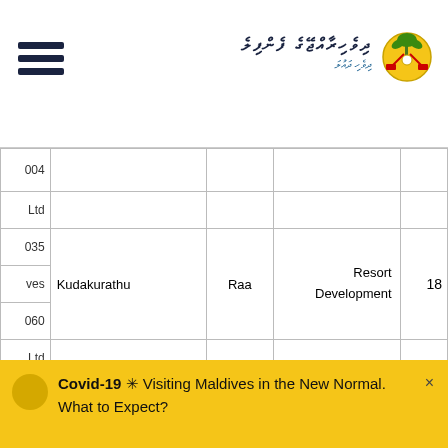Maldives Government / Ministry page header with hamburger menu and Thaana script logo
| Ref | Island | Atoll | Type | No. |
| --- | --- | --- | --- | --- |
| ...004 |  |  |  |  |
| ...Ltd |  |  |  |  |
| ...035 | Kudakurathu | Raa | Resort Development | 18 |
| ...ves |  |  |  |  |
| ...060 |  |  |  |  |
| ...Ltd |  |  |  |  |
| ...agu | Lundhufushi | Raa | Resort Development | 19 |
| ...083 |  |  |  |  |
| ...244 |  |  |  |  |
Covid-19 * Visiting Maldives in the New Normal. What to Expect?